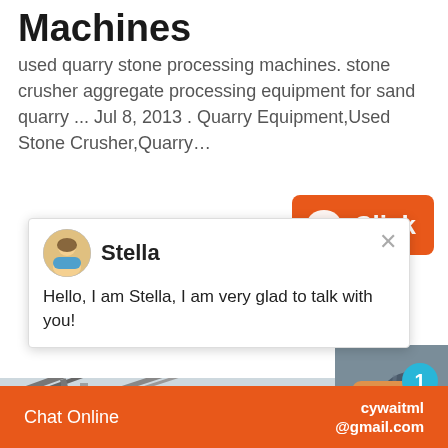Machines
used quarry stone processing machines. stone crusher aggregate processing equipment for sand quarry ... Jul 8, 2013 . Quarry Equipment,Used Stone Crusher,Quarry…
[Figure (screenshot): Orange button with chat bubble icon and text 'Click']
[Figure (screenshot): Chat popup with avatar of Stella and message: Hello, I am Stella, I am very glad to talk with you!]
[Figure (photo): Industrial conveyor belt structure against a grey sky]
[Figure (screenshot): Right side panel with person photo, blue badge with 1, Click to chat button, Enquiry text]
Chat Online   cywaitml @gmail.com